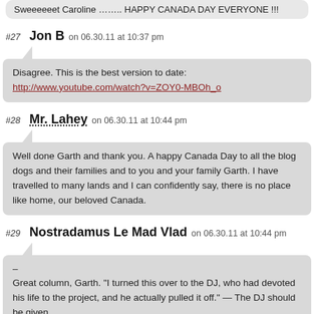Sweeeeeet Caroline …….. HAPPY CANADA DAY EVERYONE !!!
#27  Jon B  on 06.30.11 at 10:37 pm
Disagree. This is the best version to date: http://www.youtube.com/watch?v=ZOY0-MBOh_o
#28  Mr. Lahey  on 06.30.11 at 10:44 pm
Well done Garth and thank you. A happy Canada Day to all the blog dogs and their families and to you and your family Garth. I have travelled to many lands and I can confidently say, there is no place like home, our beloved Canada.
#29  Nostradamus Le Mad Vlad  on 06.30.11 at 10:44 pm
–
Great column, Garth. "I turned this over to the DJ, who had devoted his life to the project, and he actually pulled it off." — The DJ should be given